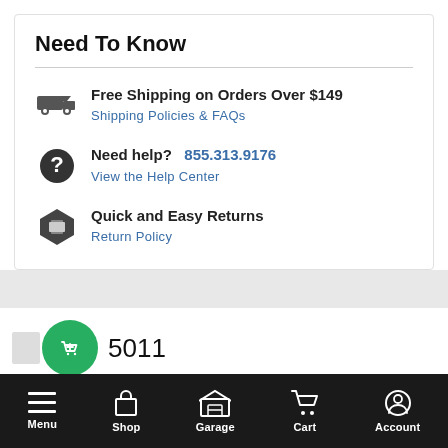Need To Know
Free Shipping on Orders Over $149 — Shipping Policies & FAQs
Need help? 855.313.9176 — View the Help Center
Quick and Easy Returns — Return Policy
5011
Menu | Shop | Garage | Cart | Account